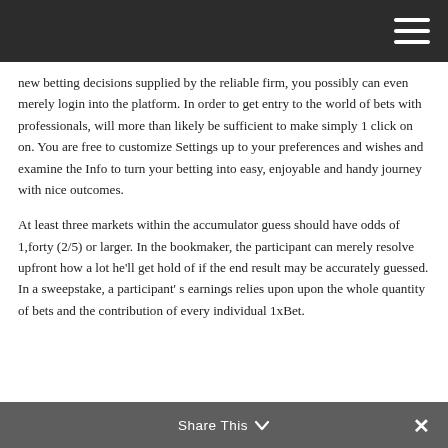new betting decisions supplied by the reliable firm, you possibly can even merely login into the platform. In order to get entry to the world of bets with professionals, will more than likely be sufficient to make simply 1 click on on. You are free to customize Settings up to your preferences and wishes and examine the Info to turn your betting into easy, enjoyable and handy journey with nice outcomes.
At least three markets within the accumulator guess should have odds of 1,forty (2/5) or larger. In the bookmaker, the participant can merely resolve upfront how a lot he'll get hold of if the end result may be accurately guessed. In a sweepstake, a participant' s earnings relies upon upon the whole quantity of bets and the contribution of every individual 1xBet.
Share This